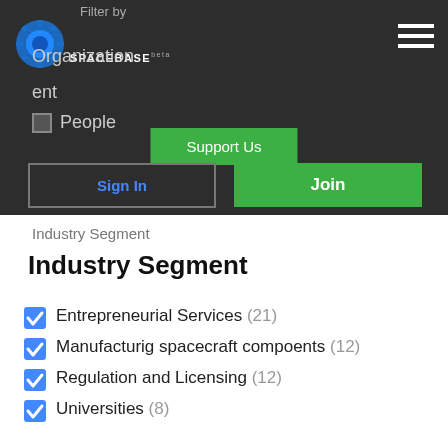Filter by
[Figure (logo): Spacebase logo with circular blue gear icon and SPACEBASE text with beta tag]
Organization
Content
People
Support Us
Sign In
Join
Industry Segment
Industry Segment
Entrepreneurial Services (21)
Manufacturig spacecraft compoents (12)
Regulation and Licensing (12)
Universities (8)